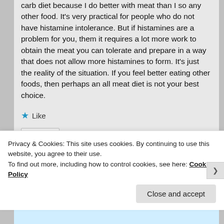carb diet because I do better with meat than I so any other food. It's very practical for people who do not have histamine intolerance. But if histamines are a problem for you, them it requires a lot more work to obtain the meat you can tolerate and prepare in a way that does not allow more histamines to form. It's just the reality of the situation. If you feel better eating other foods, then perhaps an all meat diet is not your best choice.
★ Like
Reply ↓
Privacy & Cookies: This site uses cookies. By continuing to use this website, you agree to their use.
To find out more, including how to control cookies, see here: Cookie Policy
Close and accept